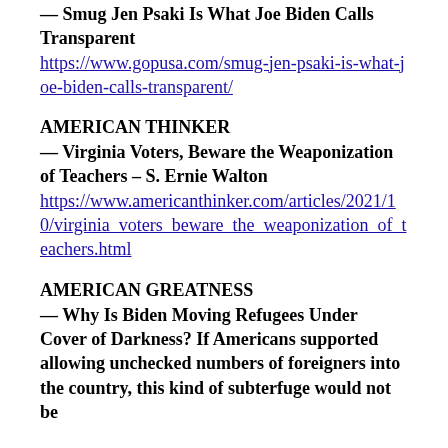— Smug Jen Psaki Is What Joe Biden Calls Transparent
https://www.gopusa.com/smug-jen-psaki-is-what-joe-biden-calls-transparent/
AMERICAN THINKER
— Virginia Voters, Beware the Weaponization of Teachers – S. Ernie Walton
https://www.americanthinker.com/articles/2021/10/virginia_voters_beware_the_weaponization_of_teachers.html
AMERICAN GREATNESS
— Why Is Biden Moving Refugees Under Cover of Darkness? If Americans supported allowing unchecked numbers of foreigners into the country, this kind of subterfuge would not be